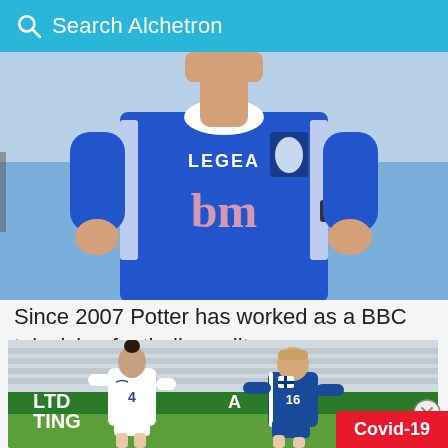Search Alchetron
[Figure (photo): Football player in blue Birmingham City LEGEA jersey with 'bm' sponsor, white collar, 'Resp' sleeve badge, running on pitch]
Since 2007 Potter has worked as a BBC television football pundit.
[Figure (photo): Two women football players in action: one in white England kit (number 4) and one in blue Finland kit (number 16), with advertising hoardings reading 'LTD' and 'TING' in background]